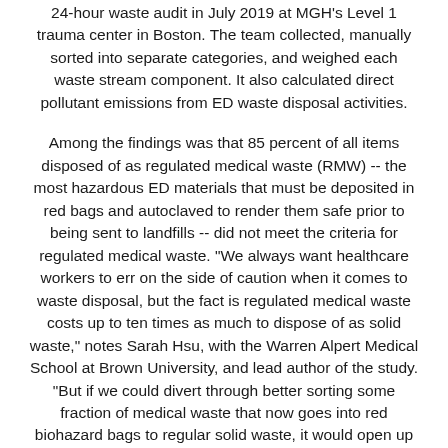24-hour waste audit in July 2019 at MGH's Level 1 trauma center in Boston. The team collected, manually sorted into separate categories, and weighed each waste stream component. It also calculated direct pollutant emissions from ED waste disposal activities.
Among the findings was that 85 percent of all items disposed of as regulated medical waste (RMW) -- the most hazardous ED materials that must be deposited in red bags and autoclaved to render them safe prior to being sent to landfills -- did not meet the criteria for regulated medical waste. "We always want healthcare workers to err on the side of caution when it comes to waste disposal, but the fact is regulated medical waste costs up to ten times as much to dispose of as solid waste," notes Sarah Hsu, with the Warren Alpert Medical School at Brown University, and lead author of the study. "But if we could divert through better sorting some fraction of medical waste that now goes into red biohazard bags to regular solid waste, it would open up significant cost-saving opportunities for hospitals."
Another area rife with opportunity, according to the